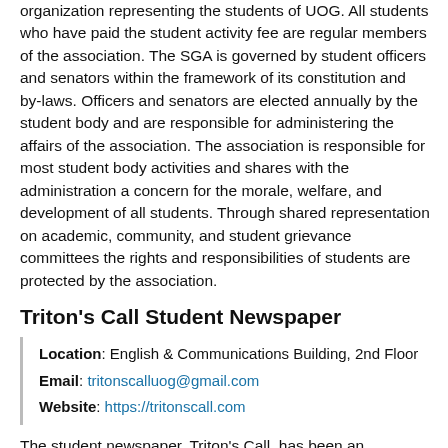organization representing the students of UOG. All students who have paid the student activity fee are regular members of the association. The SGA is governed by student officers and senators within the framework of its constitution and by-laws. Officers and senators are elected annually by the student body and are responsible for administering the affairs of the association. The association is responsible for most student body activities and shares with the administration a concern for the morale, welfare, and development of all students. Through shared representation on academic, community, and student grievance committees the rights and responsibilities of students are protected by the association.
Triton's Call Student Newspaper
Location: English & Communications Building, 2nd Floor
Email: tritonscalluog@gmail.com
Website: https://tritonscall.com
The student newspaper, Triton's Call, has been an instrument of information and news for UOG students and the UOG community since 1965. It also provides